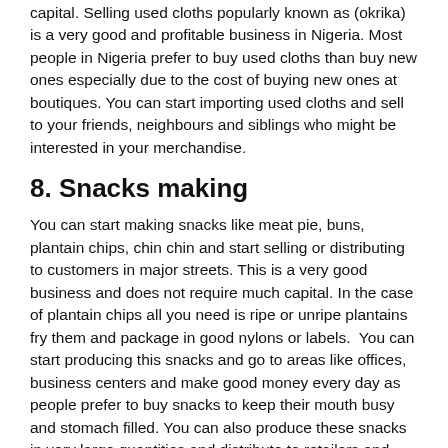capital. Selling used cloths popularly known as (okrika) is a very good and profitable business in Nigeria. Most people in Nigeria prefer to buy used cloths than buy new ones especially due to the cost of buying new ones at boutiques. You can start importing used cloths and sell to your friends, neighbours and siblings who might be interested in your merchandise.
8. Snacks making
You can start making snacks like meat pie, buns, plantain chips, chin chin and start selling or distributing to customers in major streets. This is a very good business and does not require much capital. In the case of plantain chips all you need is ripe or unripe plantains fry them and package in good nylons or labels.  You can start producing this snacks and go to areas like offices, business centers and make good money every day as people prefer to buy snacks to keep their mouth busy and stomach filled. You can also produce these snacks in very large quantities and distribute to retailers and hawkers and get paid.
9. Poultry farming